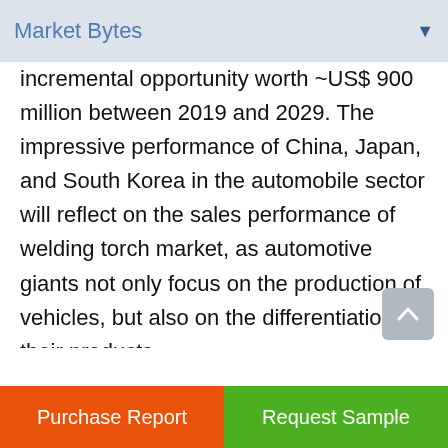Market Bytes
incremental opportunity worth ~US$ 900 million between 2019 and 2029. The impressive performance of China, Japan, and South Korea in the automobile sector will reflect on the sales performance of welding torch market, as automotive giants not only focus on the production of vehicles, but also on the differentiation of their products.

As these countries further embrace digitalization to harvest the benefits of automation, the advent of light-manual, ergonomic, and flexible welding torches will give a high adoption rate to...
Purchase Report | Request Sample